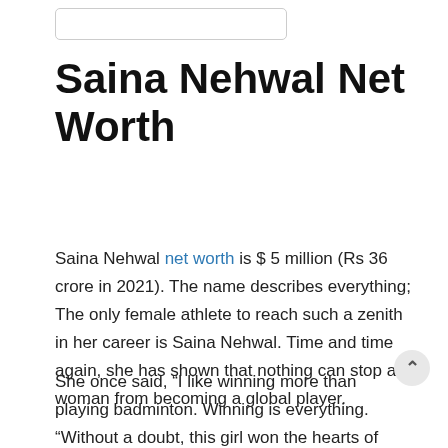[Figure (other): Search box / input field at the top of the page]
Saina Nehwal Net Worth
Saina Nehwal net worth is $ 5 million (Rs 36 crore in 2021). The name describes everything; The only female athlete to reach such a zenith in her career is Saina Nehwal. Time and time again, she has shown that nothing can stop a woman from becoming a global player.
She once said, “I like winning more than playing badminton. Winning is everything. “Without a doubt, this girl won the hearts of all Indians and made India and all Indians around the world proud. In India, badminton was not as popular as cricket, But thanks to her people began to view badminton with interest today. She has gone down in history setting records and is also one of the best female badminton players in the world.